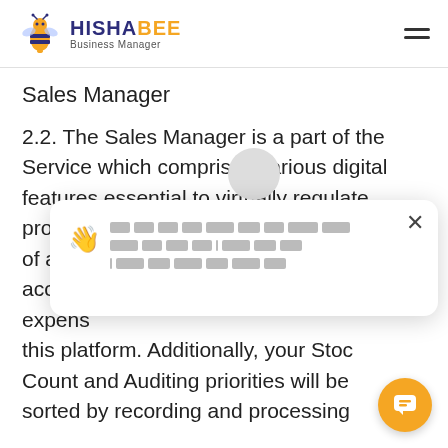HISHABEE Business Manager
Sales Manager
2.2. The Sales Manager is a part of the Service which comprises various digital features essential to virtually regulate, process and record the transactions of a business, accrue expenses on this platform. Additionally, your Stock Count and Auditing priorities will be sorted by recording and processing